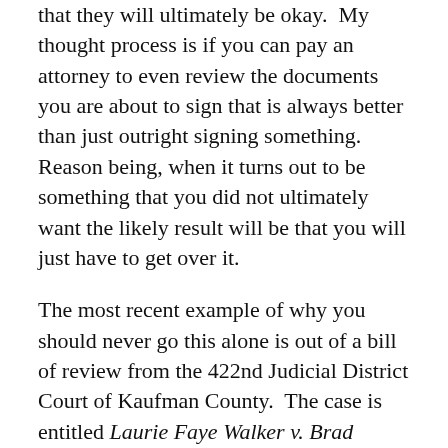that they will ultimately be okay.  My thought process is if you can pay an attorney to even review the documents you are about to sign that is always better than just outright signing something.  Reason being, when it turns out to be something that you did not ultimately want the likely result will be that you will just have to get over it.
The most recent example of why you should never go this alone is out of a bill of review from the 422nd Judicial District Court of Kaufman County.  The case is entitled Laurie Faye Walker v. Brad Vincent Walker and in that case the wife filed a bill of review in the 422nd Judicial District Court, the same court that signed off on her decree, asking the Court to basically review and reconsider her divorce